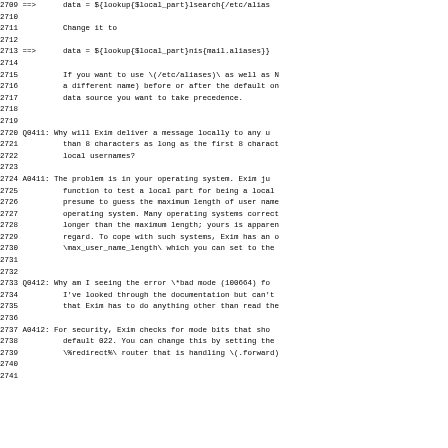2709 ==>      data = ${lookup{$local_part}lsearch{/etc/alias
2710
2711          Change it to
2712
2713 ==>      data = ${lookup{$local_part}nis{mail.aliases}}
2714
2715          If you want to use \(/etc/aliases)\ as well as N
2716          a different name) before or after the default on
2717          data source you want to take precedence.
2718
2719
2720 Q0411: Why will Exim deliver a message locally to any u
2721          than 8 characters as long as the first 8 charact
2722          local usernames?
2723
2724 A0411: The problem is in your operating system. Exim ju
2725          function to test a local part for being a local
2726          presume to guess the maximum length of user name
2727          operating system. Many operating systems correct
2728          longer than the maximum length; yours is apparen
2729          regard. To cope with such systems, Exim has an o
2730          \max_user_name_length\ which you can set to the
2731
2732
2733 Q0412: Why am I seeing the error \*bad mode (100664) fo
2734          I've looked through the documentation but can't
2735          that Exim has to do anything other than read the
2736
2737 A0412: For security, Exim checks for mode bits that sho
2738          default 022. You can change this by setting the
2739          \%redirect%\ router that is handling \(.forward)
2740
2741